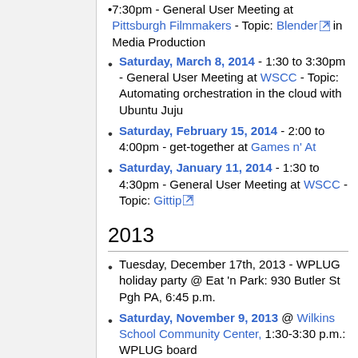7:30pm - General User Meeting at Pittsburgh Filmmakers - Topic: Blender in Media Production
Saturday, March 8, 2014 - 1:30 to 3:30pm - General User Meeting at WSCC - Topic: Automating orchestration in the cloud with Ubuntu Juju
Saturday, February 15, 2014 - 2:00 to 4:00pm - get-together at Games n' At
Saturday, January 11, 2014 - 1:30 to 4:30pm - General User Meeting at WSCC - Topic: Gittip
2013
Tuesday, December 17th, 2013 - WPLUG holiday party @ Eat 'n Park: 930 Butler St Pgh PA, 6:45 p.m.
Saturday, November 9, 2013 @ Wilkins School Community Center, 1:30-3:30 p.m.: WPLUG board